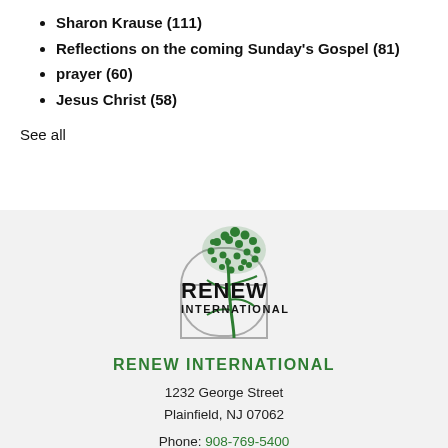Sharon Krause (111)
Reflections on the coming Sunday's Gospel (81)
prayer (60)
Jesus Christ (58)
See all
[Figure (logo): RENEW International logo: stylized tree in green with a rectangular arch outline and bold black text 'RENEW INTERNATIONAL']
RENEW INTERNATIONAL
1232 George Street
Plainfield, NJ 07062
Phone: 908-769-5400
Toll-free: 888-433-3221
Fax: 908-769-5660